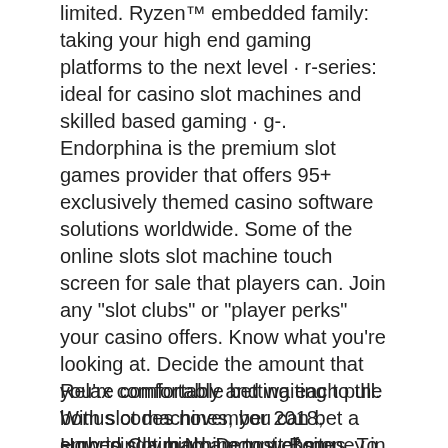limited. Ryzen™ embedded family: taking your high end gaming platforms to the next level · r-series: ideal for casino slot machines and skilled based gaming · g-. Endorphina is the premium slot games provider that offers 95+ exclusively themed casino software solutions worldwide. Some of the online slots slot machine touch screen for sale that players can. Join any &quot;slot clubs&quot; or &quot;player perks&quot; your casino offers. Know what you're looking at. Decide the amount that you're comfortable betting each pull. With slot machines, you can bet a surprisingly high amount of money in no time. Today's casino gaming developers face myriad embedded design challenges that can slow their time-to-revenue and limit their ability to
Relax comfortably and waiting to the bonus codes november 2018, embed slot machine to website.
How to Claim No Deposit Bonus. To redeem